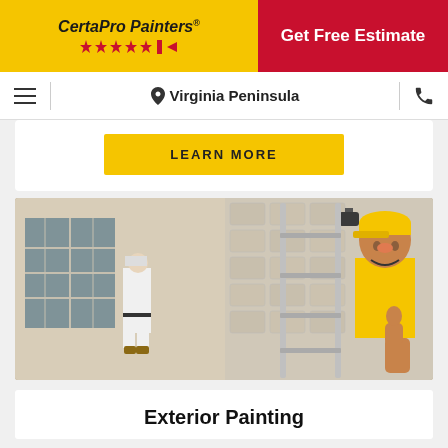[Figure (logo): CertaPro Painters logo with yellow background, red stars, and red stripe/arrow]
Get Free Estimate
Virginia Peninsula
LEARN MORE
[Figure (photo): Two CertaPro Painters workers outside a house with a ladder. One in white uniform painting near windows, another in yellow shirt and cap giving thumbs up next to a ladder.]
Exterior Painting